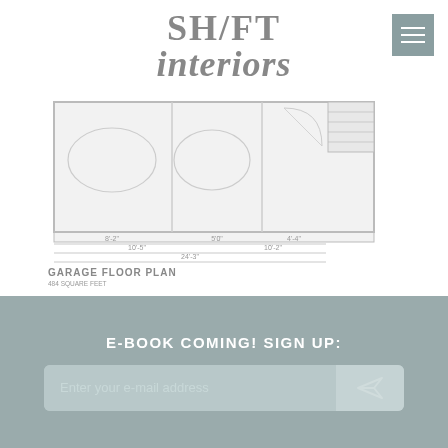SH/FT interiors
[Figure (schematic): Architectural garage floor plan drawing showing layout with dimensions. Title reads 'GARAGE FLOOR PLAN', 484 SQUARE FEET, 8'-0" CEILING HEIGHT, HEADERS @ 6'-8" A.F.F.]
GARAGE FLOOR PLAN
484 SQUARE FEET
8'-0" CEILING HEIGHT
HEADERS @ 6'-8" A.F.F.
E-BOOK COMING! SIGN UP:
Enter your e-mail address